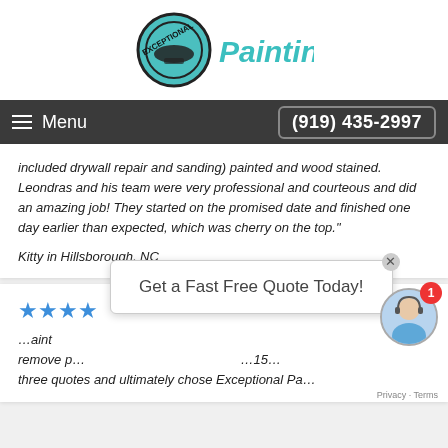[Figure (logo): Exceptional Painting logo — circular teal/black stamp icon with 'Painting' text in teal beside it]
Menu  (919) 435-2997
included drywall repair and sanding) painted and wood stained. Leondras and his team were very professional and courteous and did an amazing job! They started on the promised date and finished one day earlier than expected, which was cherry on the top."
Kitty in Hillsborough, NC
★★★★ ...paint remove p... ...15... three quotes and ultimately chose Exceptional Pa...
[Figure (other): Chat popup with text 'Get a Fast Free Quote Today!' and agent photo with red badge showing '1']